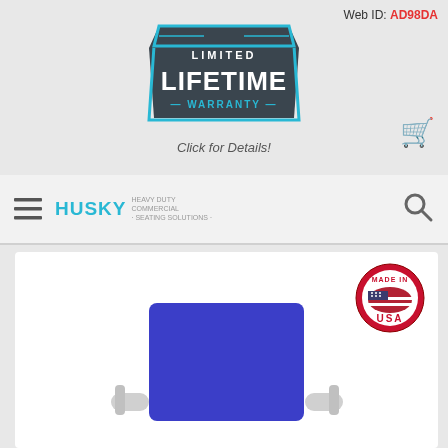Web ID: AD98DA
[Figure (logo): Limited Lifetime Warranty badge - dark teal/grey trapezoid shape with cyan border, white text reading LIMITED LIFETIME WARRANTY with dashes]
Click for Details!
[Figure (other): Shopping cart icon in cyan/teal color]
[Figure (logo): Husky Heavy Duty Commercial Seating Solutions logo - HUSKY in cyan letters with tagline]
[Figure (other): Search/magnifying glass icon]
[Figure (photo): Blue padded commercial chair seat viewed from front/above with white/silver metal armrests, Made in USA badge in top right corner]